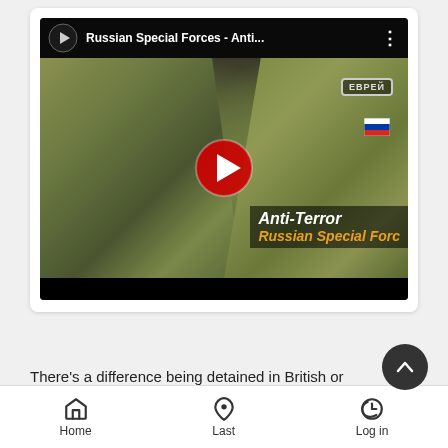[Figure (screenshot): YouTube video thumbnail showing Russian Special Forces soldiers in camouflage gear with title 'Russian Special Forces - Anti...' and overlay text 'Anti-Terror Russian Special Forc']
There's a difference being detained in British or Russian pris... and there's no point in running around city evading police cause
Home  Last  Log in